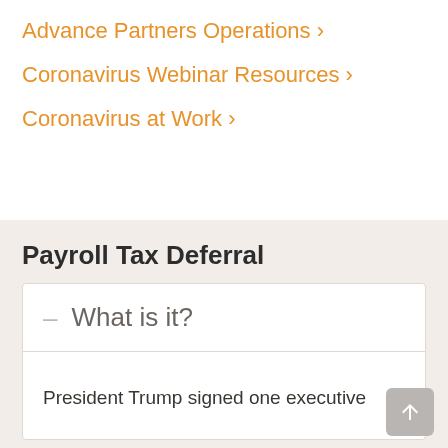Advance Partners Operations ›
Coronavirus Webinar Resources ›
Coronavirus at Work ›
Payroll Tax Deferral
– What is it?
President Trump signed one executive